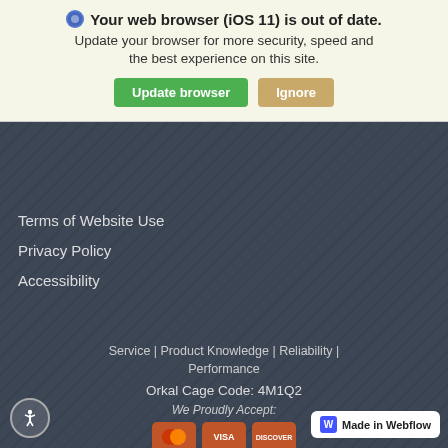[Figure (screenshot): Browser update notification banner with iOS 11 out of date warning, Update browser (green) and Ignore (tan) buttons]
Terms of Website Use
Privacy Policy
Accessibility
Service | Product Knowledge | Reliability | Performance
Orkal Cage Code: 4M1Q2
We Proudly Accept:
[Figure (logo): Payment icons: Mastercard, Visa, Discover]
Copyright © 2022 Orkal Industries
A Marmon Group / Berkshire Hathaway Company